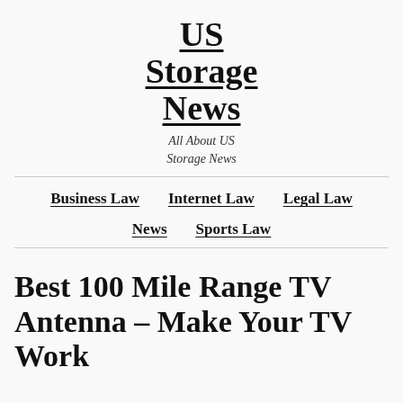US Storage News
All About US Storage News
Business Law   Internet Law   Legal Law
News   Sports Law
Best 100 Mile Range TV Antenna – Make Your TV Work